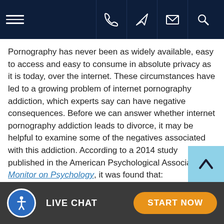[Figure (screenshot): Dark navy top navigation bar with hamburger menu icon on left and four icon buttons (phone, navigation/send, envelope/mail, search) on the right separated by vertical dividers.]
Pornography has never been as widely available, easy to access and easy to consume in absolute privacy as it is today, over the internet. These circumstances have led to a growing problem of internet pornography addiction, which experts say can have negative consequences. Before we can answer whether internet pornography addiction leads to divorce, it may be helpful to examine some of the negatives associated with this addiction. According to a 2014 study published in the American Psychological Association's Monitor on Psychology, it was found that:
Porn addiction distorts the brain — Studies have shown that compulsive pornography use can be physically addictive. It increases activity in the ventral
[Figure (infographic): Bottom bar with accessibility icon button (blue circle with white person figure), LIVE CHAT text label in white, and START NOW button in orange pill shape.]